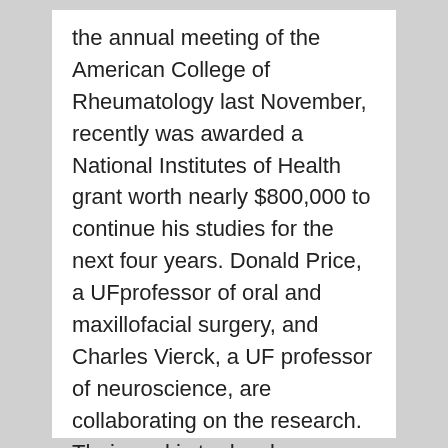the annual meeting of the American College of Rheumatology last November, recently was awarded a National Institutes of Health grant worth nearly $800,000 to continue his studies for the next four years. Donald Price, a UFprofessor of oral and maxillofacial surgery, and Charles Vierck, a UF professor of neuroscience, are collaborating on the research. Their goal is to develop a better understanding of the condition, with an eye toward improving diagnostic tests and treatments.